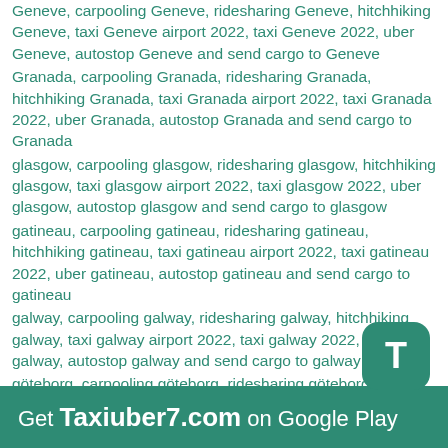Geneve, carpooling Geneve, ridesharing Geneve, hitchhiking Geneve, taxi Geneve airport 2022, taxi Geneve 2022, uber Geneve, autostop Geneve and send cargo to Geneve
Granada, carpooling Granada, ridesharing Granada, hitchhiking Granada, taxi Granada airport 2022, taxi Granada 2022, uber Granada, autostop Granada and send cargo to Granada
glasgow, carpooling glasgow, ridesharing glasgow, hitchhiking glasgow, taxi glasgow airport 2022, taxi glasgow 2022, uber glasgow, autostop glasgow and send cargo to glasgow
gatineau, carpooling gatineau, ridesharing gatineau, hitchhiking gatineau, taxi gatineau airport 2022, taxi gatineau 2022, uber gatineau, autostop gatineau and send cargo to gatineau
galway, carpooling galway, ridesharing galway, hitchhiking galway, taxi galway airport 2022, taxi galway 2022, uber galway, autostop galway and send cargo to galway
göteborg, carpooling göteborg, ridesharing göteborg, hitchhiking göteborg, taxi göteborg airport 2022, taxi göteborg 2022, uber göteborg, autostop göteborg and
goa, carpooling goa, ridesharing goa, hitchhiking goa
Get Taxiuber7.com on Google Play